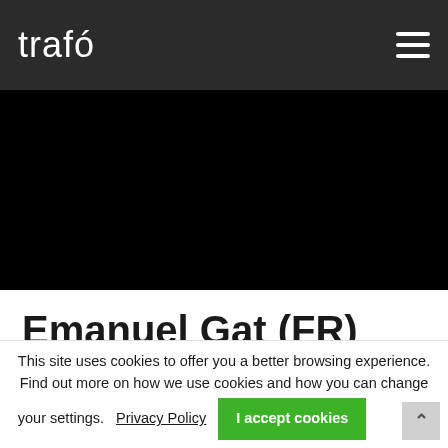trafó
[Figure (photo): Black hero/banner image area]
Emanuel Gat (FR)
SUNNY - SOLD OUT!
This site uses cookies to offer you a better browsing experience. Find out more on how we use cookies and how you can change your settings. Privacy Policy I accept cookies